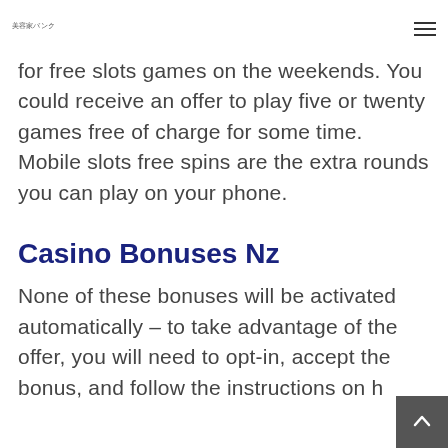美容家バンク
…play… / play for free slots games on the weekends. You could receive an offer to play five or twenty games free of charge for some time. Mobile slots free spins are the extra rounds you can play on your phone.
Casino Bonuses Nz
None of these bonuses will be activated automatically – to take advantage of the offer, you will need to opt-in, accept the bonus, and follow the instructions on h…